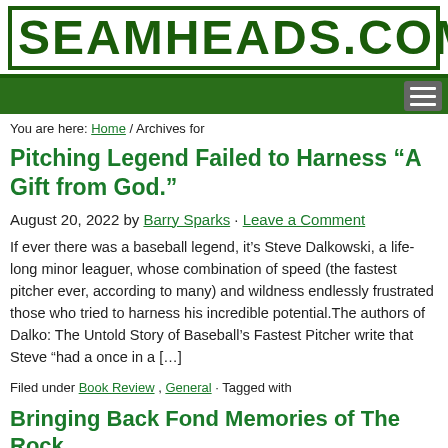SEAMHEADS.COM
You are here: Home / Archives for
Pitching Legend Failed to Harness “A Gift from God.”
August 20, 2022 by Barry Sparks · Leave a Comment
If ever there was a baseball legend, it’s Steve Dalkowski, a life-long minor leaguer, whose combination of speed (the fastest pitcher ever, according to many) and wildness endlessly frustrated those who tried to harness his incredible potential.The authors of Dalko: The Untold Story of Baseball’s Fastest Pitcher write that Steve “had a once in a […]
Filed under Book Review , General · Tagged with
Bringing Back Fond Memories of The Rock